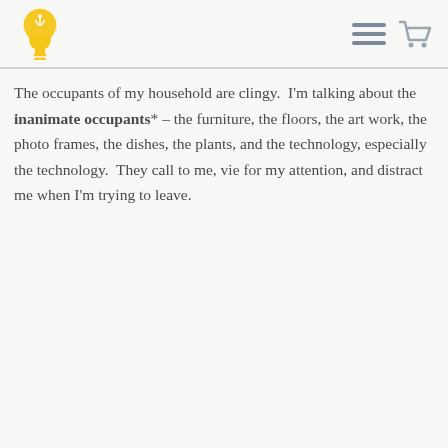[Figure (logo): Yellow lightbulb logo icon in the top left header]
[Figure (other): Hamburger menu icon and shopping cart icon in top right header]
The occupants of my household are clingy.  I'm talking about the inanimate occupants* – the furniture, the floors, the art work, the photo frames, the dishes, the plants, and the technology, especially the technology.  They call to me, vie for my attention, and distract me when I'm trying to leave.